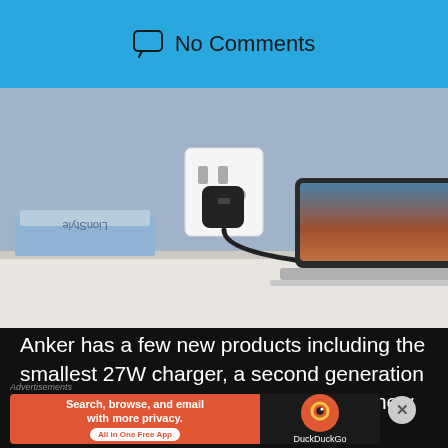No Comments
[Figure (photo): A small black USB-C wall charger plugged into a white wall outlet, connected via cable to a silver laptop sitting on a white desk. Books are stacked to the left. Light blue-grey wall background.]
Anker has a few new products including the smallest 27W charger, a second generation Nebula Capsule pocket cinema and a new smart speaker
[Figure (screenshot): DuckDuckGo advertisement banner: orange left section reading 'Search, browse, and email with more privacy. All in One Free App' and dark right section with DuckDuckGo duck logo and text.]